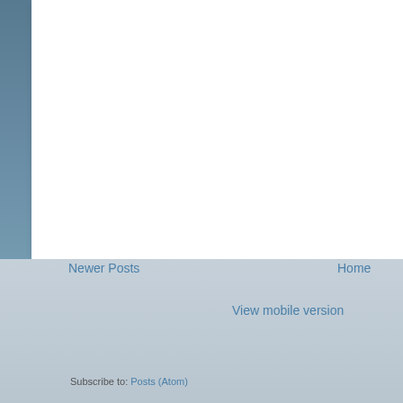[Figure (screenshot): Screenshot of a blog page with white content card on sky background]
How is everybody doing these days. Talk about a worldwide co... still have our skies though. Thank you to everybody that partici...
Linky Tools subscription expired. List not available.
Posted by Yogi♪♪♪ on Thursday, April 02, 2020
Newer Posts
Home
View mobile version
Subscribe to: Posts (Atom)